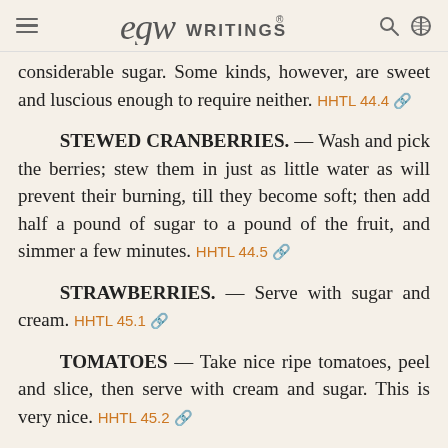EGW WRITINGS®
considerable sugar. Some kinds, however, are sweet and luscious enough to require neither. HHTL 44.4
STEWED CRANBERRIES. — Wash and pick the berries; stew them in just as little water as will prevent their burning, till they become soft; then add half a pound of sugar to a pound of the fruit, and simmer a few minutes. HHTL 44.5
STRAWBERRIES. — Serve with sugar and cream. HHTL 45.1
TOMATOES — Take nice ripe tomatoes, peel and slice, then serve with cream and sugar. This is very nice. HHTL 45.2
TOMATOES — STEWED. — Pour over the tomatoes scalding water, and take off the skins; and